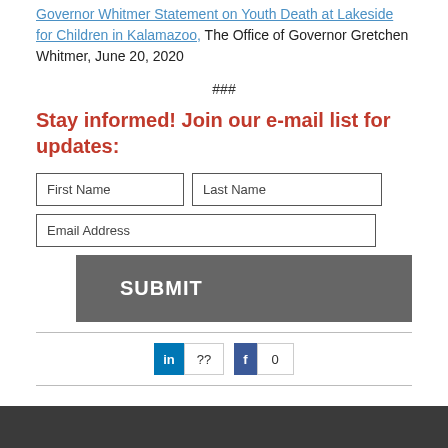Governor Whitmer Statement on Youth Death at Lakeside for Children in Kalamazoo, The Office of Governor Gretchen Whitmer, June 20, 2020
###
Stay informed! Join our e-mail list for updates:
[Figure (screenshot): Email signup form with First Name, Last Name, and Email Address input fields and a SUBMIT button]
[Figure (infographic): Social sharing buttons: LinkedIn with ?? count and Facebook with 0 count]